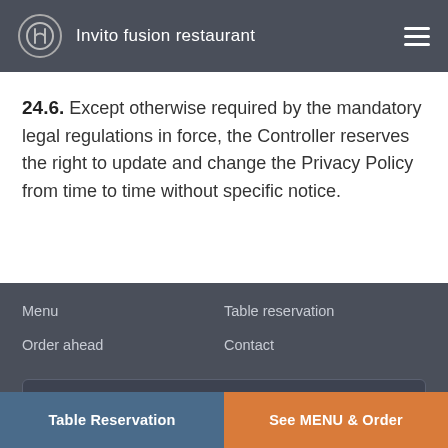Invito fusion restaurant
24.6. Except otherwise required by the mandatory legal regulations in force, the Controller reserves the right to update and change the Privacy Policy from time to time without specific notice.
Menu
Table reservation
Order ahead
Contact
English
Privacy Policy · Terms Of Service
Table Reservation  See MENU & Order